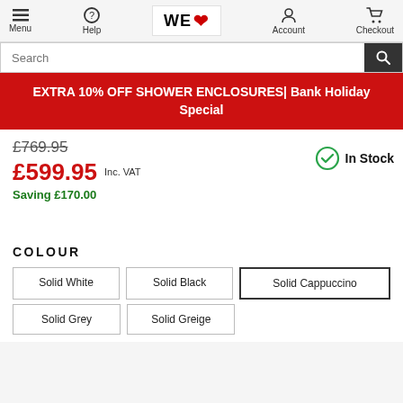Menu | Help | WE ❤ | Account | Checkout
Search
EXTRA 10% OFF SHOWER ENCLOSURES| Bank Holiday Special
£769.95 (strikethrough) £599.95 Inc. VAT | In Stock | Saving £170.00
COLOUR
Solid White
Solid Black
Solid Cappuccino
Solid Grey
Solid Greige